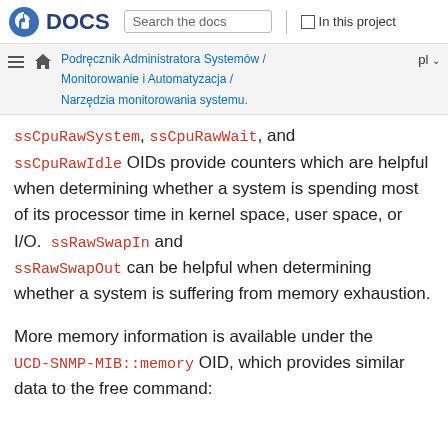Fedora DOCS | Search the docs | In this project
Podręcznik Administratora Systemów / Monitorowanie i Automatyzacja / Narzędzia monitorowania systemu. pl
ssCpuRawSystem, ssCpuRawWait, and ssCpuRawIdle OIDs provide counters which are helpful when determining whether a system is spending most of its processor time in kernel space, user space, or I/O. ssRawSwapIn and ssRawSwapOut can be helpful when determining whether a system is suffering from memory exhaustion.
More memory information is available under the UCD-SNMP-MIB::memory OID, which provides similar data to the free command: